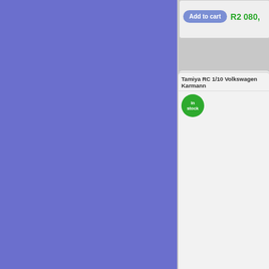[Figure (screenshot): E-commerce product listing page showing RC car products with add-to-cart buttons and prices in ZAR. Left side shows blue sidebar navigation. Right side shows product cards including Tamiya RC 1/10 Volkswagen Karmann (in stock, TAM58677, R2 715,00) and Tamiya RC 1/12 Toyota Cruiser 40 Pick- (out of stock). Top partial card shows Add to cart button and price R2 080,00.]